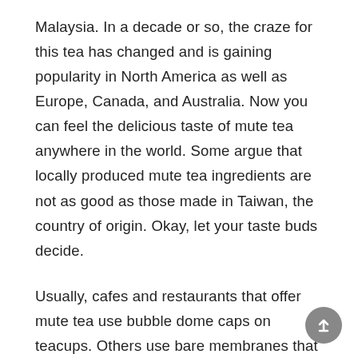Malaysia. In a decade or so, the craze for this tea has changed and is gaining popularity in North America as well as Europe, Canada, and Australia. Now you can feel the delicious taste of mute tea anywhere in the world. Some argue that locally produced mute tea ingredients are not as good as those made in Taiwan, the country of origin. Okay, let your taste buds decide.
Usually, cafes and restaurants that offer mute tea use bubble dome caps on teacups. Others use bare membranes that easily puncture with straw.